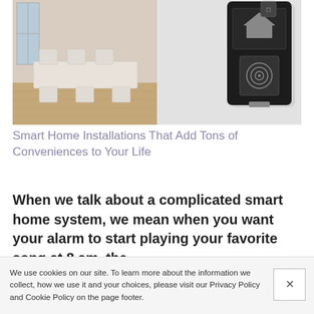[Figure (photo): Two side-by-side photos: left shows a modern dining room with white table, white chairs and wood floor; right shows a black smart home wall panel/device with fingerprint scanner.]
Smart Home Installations That Add Tons of Conveniences to Your Life
When we talk about a complicated smart home system, we mean when you want your alarm to start playing your favorite song at 8 am, the
We use cookies on our site. To learn more about the information we collect, how we use it and your choices, please visit our Privacy Policy and Cookie Policy on the page footer.